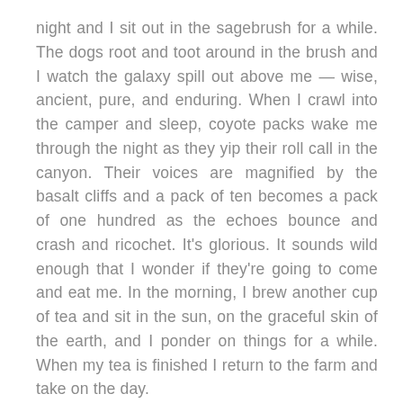night and I sit out in the sagebrush for a while. The dogs root and toot around in the brush and I watch the galaxy spill out above me — wise, ancient, pure, and enduring. When I crawl into the camper and sleep, coyote packs wake me through the night as they yip their roll call in the canyon. Their voices are magnified by the basalt cliffs and a pack of ten becomes a pack of one hundred as the echoes bounce and crash and ricochet. It's glorious. It sounds wild enough that I wonder if they're going to come and eat me. In the morning, I brew another cup of tea and sit in the sun, on the graceful skin of the earth, and I ponder on things for a while. When my tea is finished I return to the farm and take on the day.
These earrings are those nights under the stars in my home canyon.
+++++